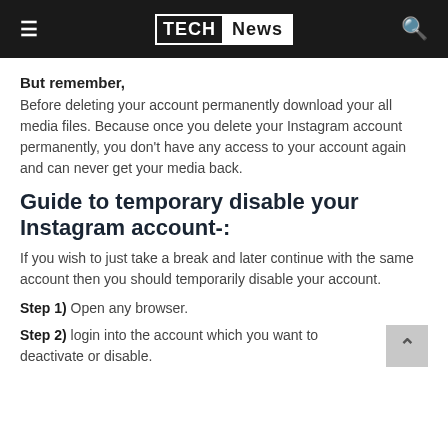TECH News
But remember,
Before deleting your account permanently download your all media files. Because once you delete your Instagram account permanently, you don't have any access to your account again and can never get your media back.
Guide to temporary disable your Instagram account-:
If you wish to just take a break and later continue with the same account then you should temporarily disable your account.
Step 1) Open any browser.
Step 2) login into the account which you want to deactivate or disable.